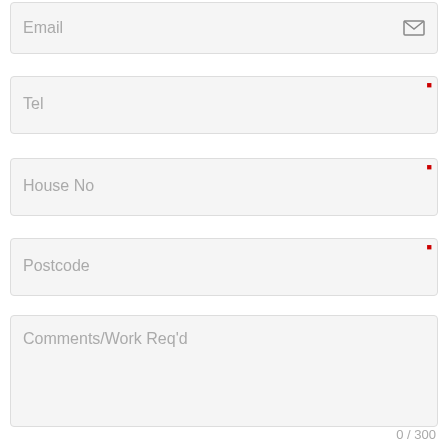Email
Tel
House No
Postcode
Comments/Work Req'd
0 / 300